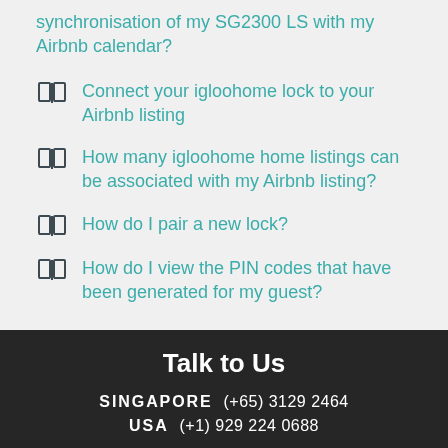synchronisation of my SG2300 LS with my Airbnb calendar?
Connect your igloohome lock to your Airbnb listing
How many igloohome home listings can be associated with my Airbnb listing?
How do I pair a new lock?
How do I view the PIN codes that have been generated for my guest?
Talk to Us
SINGAPORE  (+65) 3129 2464
USA  (+1) 929 224 0688